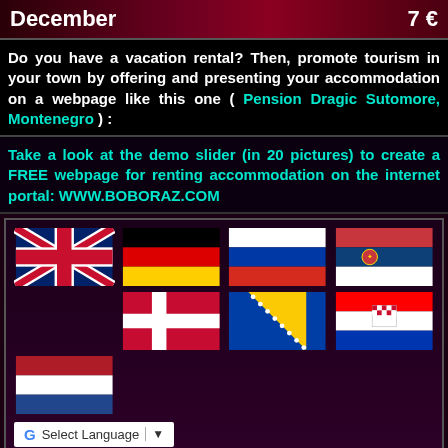December   7 €
Do you have a vacation rental? Then, promote tourism in your town by offering and presenting your accommodation on a webpage like this one ( Pension Dragic Sutomore, Montenegro ) :
Take a look at the demo slider (in 20 pictures) to create a FREE webpage for renting accommodation on the internet portal: WWW.BOBORAZ.COM
[Figure (infographic): Flags of multiple countries (UK, Germany, Russia, Serbia, Denmark, Bosnia, Croatia, Netherlands) with a Google Translate 'Select Language' button below]
Select Language